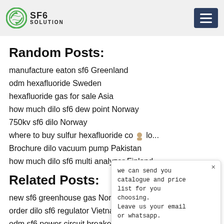SF6 SOLUTION
Random Posts:
manufacture eaton sf6 Greenland
odm hexafluoride Sweden
hexafluoride gas for sale Asia
how much dilo sf6 dew point Norway
750kv sf6 dilo Norway
where to buy sulfur hexafluoride co...
Brochure dilo vacuum pump Pakistan
how much dilo sf6 multi analyzer Finland
Related Posts:
new sf6 greenhouse gas North America
order dilo sf6 regulator Vietnam
odm sf6 power circuit breaker North America